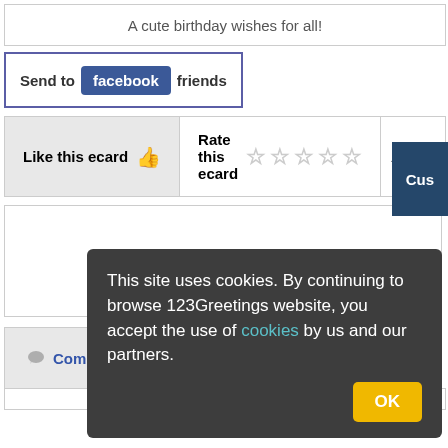A cute birthday wishes for all!
Send to facebook friends
Cus
Like this ecard
Rate this ecard
Add tags Sepa
Comments
Facebook Comments
This site uses cookies. By continuing to browse 123Greetings website, you accept the use of cookies by us and our partners.
OK